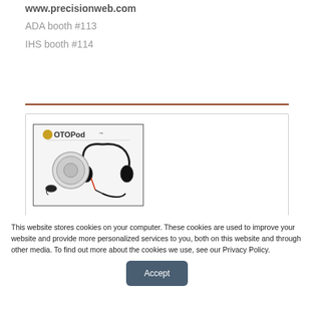www.precisionweb.com
ADA booth #113
IHS booth #114
[Figure (photo): OTOPod branded image showing headphones, ear transducer devices and accessories on white background]
This website stores cookies on your computer. These cookies are used to improve your website and provide more personalized services to you, both on this website and through other media. To find out more about the cookies we use, see our Privacy Policy.
Accept